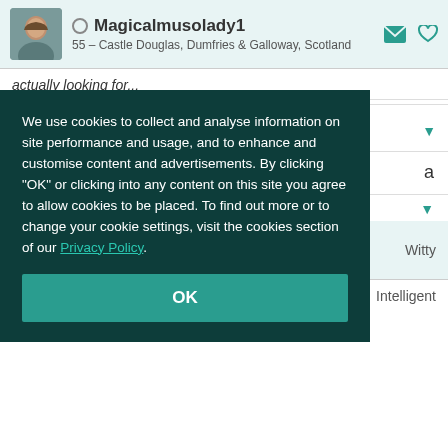Magicalmusolady1 – 55 – Castle Douglas, Dumfries & Galloway, Scotland
actually looking for...
What Her Friends Say
a
We use cookies to collect and analyse information on site performance and usage, and to enhance and customise content and advertisements. By clicking "OK" or clicking into any content on this site you agree to allow cookies to be placed. To find out more or to change your cookie settings, visit the cookies section of our Privacy Policy.
OK
Witty
Intelligent